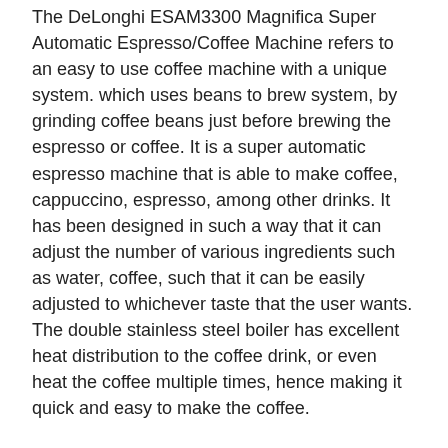The DeLonghi ESAM3300 Magnifica Super Automatic Espresso/Coffee Machine refers to an easy to use coffee machine with a unique system. which uses beans to brew system, by grinding coffee beans just before brewing the espresso or coffee. It is a super automatic espresso machine that is able to make coffee, cappuccino, espresso, among other drinks. It has been designed in such a way that it can adjust the number of various ingredients such as water, coffee, such that it can be easily adjusted to whichever taste that the user wants. The double stainless steel boiler has excellent heat distribution to the coffee drink, or even heat the coffee multiple times, hence making it quick and easy to make the coffee.
You might also like: De'Longhi EC155 15 BAR Pump Espresso and Cappuccino Maker Review
Features of De'Longhi